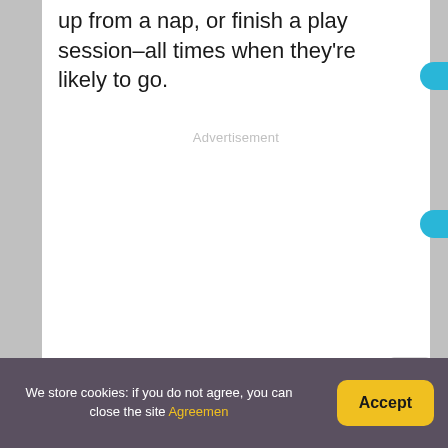up from a nap, or finish a play session–all times when they're likely to go.
[Figure (other): Advertisement placeholder area (blank white space with 'Advertisement' label)]
[Figure (other): Close button (X) overlay in bottom right of content area]
We store cookies: if you do not agree, you can close the site Agreement
[Figure (other): Accept button (yellow rounded rectangle) in cookie consent bar]